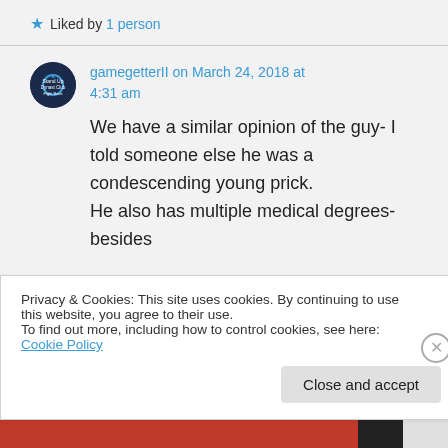★ Liked by 1 person
gamegetterII on March 24, 2018 at 4:31 am
We have a similar opinion of the guy- I told someone else he was a condescending young prick.
He also has multiple medical degrees- besides
Privacy & Cookies: This site uses cookies. By continuing to use this website, you agree to their use.
To find out more, including how to control cookies, see here: Cookie Policy
Close and accept